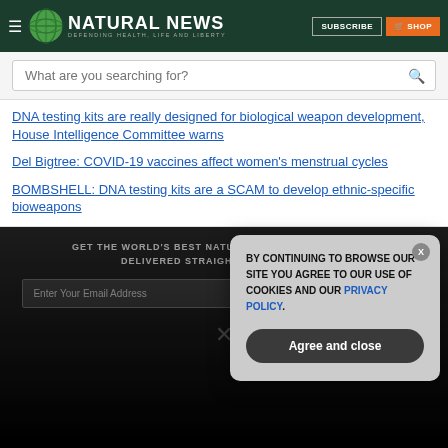Natural News — Defending Health, Life and Liberty
What are you searching for?
DNA testing kits are really designed for biological weapon development, House Intelligence Committee warns
Del Bigtree: COVID-19 vaccines affect women's menstrual cycles
BOMBSHELL: DNA testing kits are a SCAM to develop ethnic-specific bioweapons
GET THE WORLD'S BEST NATURAL HEALTH NEWSLETTER DELIVERED STRAIGHT TO YOUR INBOX
BY CONTINUING TO BROWSE OUR SITE YOU AGREE TO OUR USE OF COOKIES AND OUR PRIVACY POLICY.
Agree and close